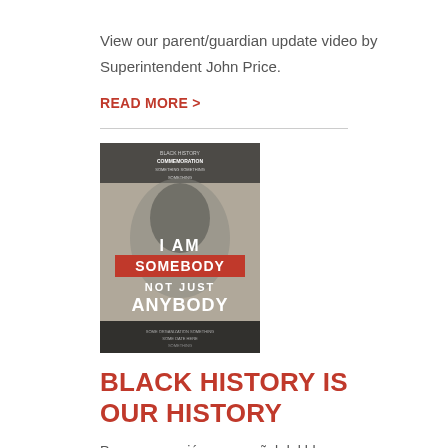View our parent/guardian update video by Superintendent John Price.
READ MORE >
[Figure (photo): Black and white event poster with text 'I AM SOMEBODY NOT JUST ANYBODY']
BLACK HISTORY IS OUR HISTORY
Para una versión en español del blog, por favor vea la parte inferior de esta página D187 is proud to focus on celebrating Black History Month each February, and